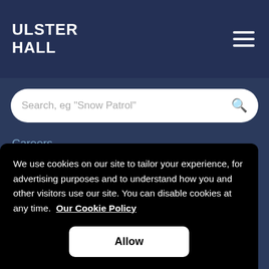ULSTER HALL
Search, eg "Snow Patrol"
Careers
Contact Us
Accessibility...
We use cookies on our site to tailor your experience, for advertising purposes and to understand how you and other visitors use our site. You can disable cookies at any time. Our Cookie Policy
Allow